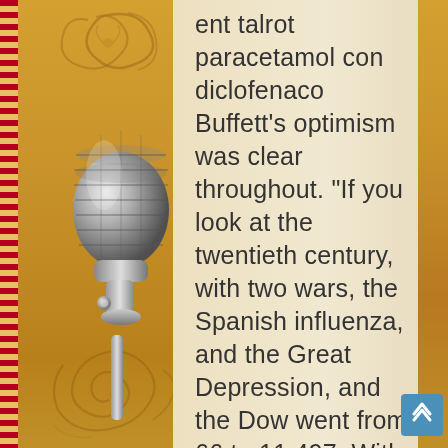[Figure (illustration): Decorative page with a vintage silver microphone on the left panel, ornamental gold and brown swirl patterns, a red and gold striped left border, and a cream/parchment content area on the right.]
ent talrot paracetamol con diclofenaco Buffett's optimism was clear throughout. "If you look at the twentieth century, with two wars, the Spanish influenza, and the Great Depression, and the Dow went from 66 to 11,497. With all those terrible things happening, America works."